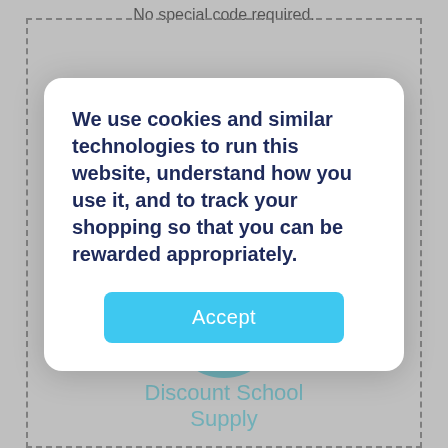No special code required.
[Figure (screenshot): Visit Store button, a teal/cyan rectangular button with white text]
[Figure (infographic): Free Shipping circular badge in teal with white text]
Discount School Supply
We use cookies and similar technologies to run this website, understand how you use it, and to track your shopping so that you can be rewarded appropriately.
[Figure (screenshot): Accept button, a light blue rounded rectangle with white text 'Accept']